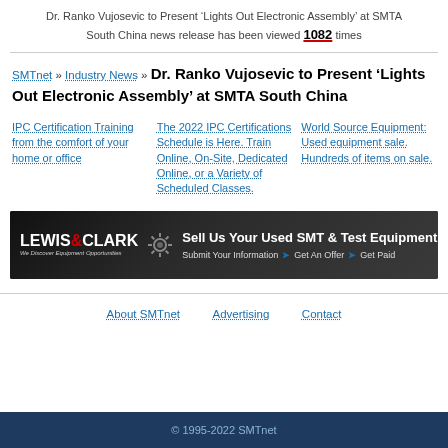Dr. Ranko Vujosevic to Present ‘Lights Out Electronic Assembly’ at SMTA South China news release has been viewed 1082 times
SMTnet » Industry News » Dr. Ranko Vujosevic to Present ‘Lights Out Electronic Assembly’ at SMTA South China
IPC Certification Training from the comfort of your home or office
The 2022 IPC Certifications Schedule is Here. Train Online, On-Site, Dedicated Online, or a Variety of Scheduled Classes.
World Source Equipment: Used equipment sale. Hundreds of items on sale.
[Figure (illustration): Lewis & Clark banner ad: Sell Us Your Used SMT & Test Equipment. Submit Your Information > Get An Offer > Get Paid]
About SMTnet   Advertising   Contact
© 1995-2022 SMTnet